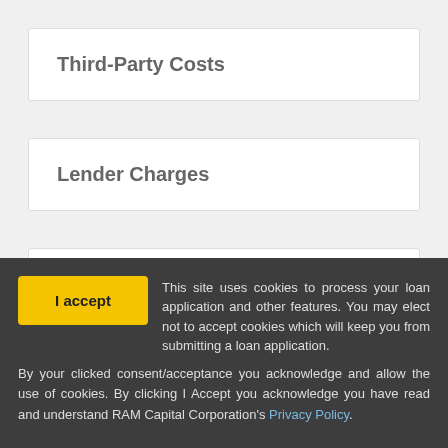Third-Party Costs
Lender Charges
Other Up-Front Expenses
I accept This site uses cookies to process your loan application and other features. You may elect not to accept cookies which will keep you from submitting a loan application. By your clicked consent/acceptance you acknowledge and allow the use of cookies. By clicking I Accept you acknowledge you have read and understand RAM Capital Corporation's Privacy Policy.